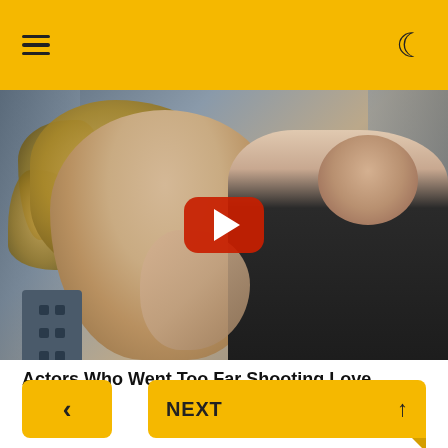☰  ☽
[Figure (photo): A man and woman in an intimate/dramatic pose in what appears to be an elevator. The woman has large blonde curly hair and light skin; the man is wearing a black shirt and has dark hair and stubble. A YouTube play button overlay is centered on the image.]
Actors Who Went Too Far Shooting Love Scenes
TRAITSLAB
‹   NEXT  ↑